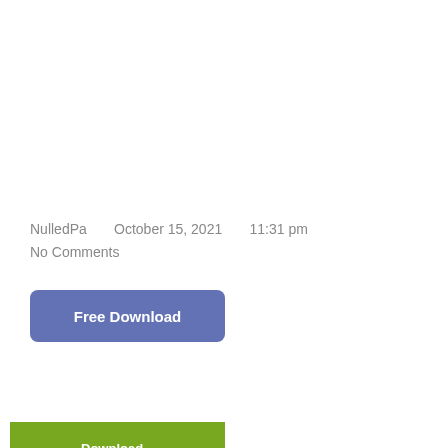NulledPa    October 15, 2021    11:31 pm
No Comments
[Figure (other): Blue rounded button labeled 'Free Download']
[Figure (other): Red button labeled 'LIVE PREVIEW' and green button labeled 'BUY FOR $17']
[Figure (other): Green button partially visible at bottom, starting to show download label]